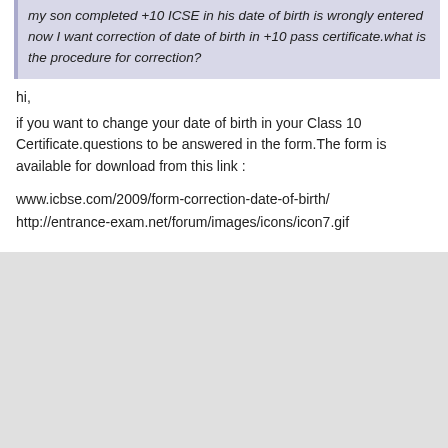my son completed +10 ICSE in his date of birth is wrongly entered now I want correction of date of birth in +10 pass certificate.what is the procedure for correction?
hi,
if you want to change your date of birth in your Class 10 Certificate.questions to be answered in the form.The form is available for download from this link :
www.icbse.com/2009/form-correction-date-of-birth/
http://entrance-exam.net/forum/images/icons/icon7.gif